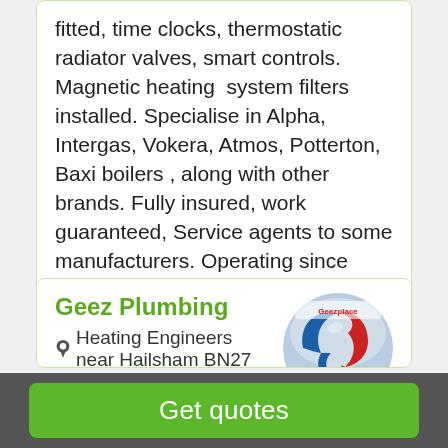fitted, time clocks, thermostatic radiator valves, smart controls. Magnetic heating system filters installed. Specialise in Alpha, Intergas, Vokera, Atmos, Potterton, Baxi boilers , along with other brands. Fully insured, work guaranteed, Service agents to some manufacturers. Operating since 1976. Reliable no nonsense service.
Geez Plumbing
Heating Engineers near Hailsham BN27
[Figure (logo): Geez Plumbing logo — circular badge with blue and red swirling design on grey/blue background with 'Geezplace' text at top]
At Geez Plumbing we offer a range of plumbing services, which include installing and repairing all types of plumbing systems and fixtures, such as pipes,
Get quotes